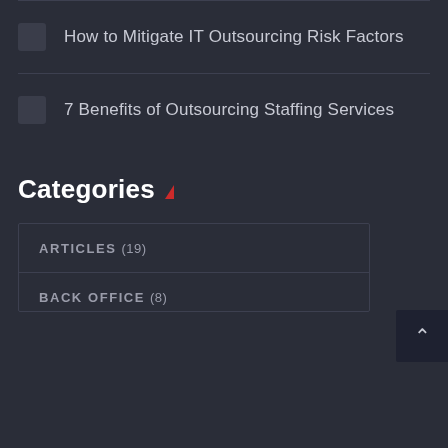How to Mitigate IT Outsourcing Risk Factors
7 Benefits of Outsourcing Staffing Services
Categories
| ARTICLES (19) |
| BACK OFFICE (8) |